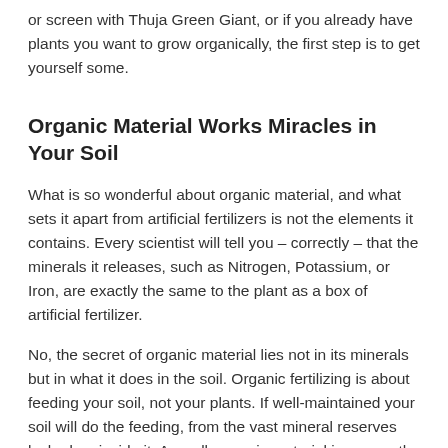or screen with Thuja Green Giant, or if you already have plants you want to grow organically, the first step is to get yourself some.
Organic Material Works Miracles in Your Soil
What is so wonderful about organic material, and what sets it apart from artificial fertilizers is not the elements it contains. Every scientist will tell you – correctly – that the minerals it releases, such as Nitrogen, Potassium, or Iron, are exactly the same to the plant as a box of artificial fertilizer.
No, the secret of organic material lies not in its minerals but in what it does in the soil. Organic fertilizing is about feeding your soil, not your plants. If well-maintained your soil will do the feeding, from the vast mineral reserves locked up inside it. As well, organic material improves the physical structure and properties of your soil, making every soil more suitable for growing.